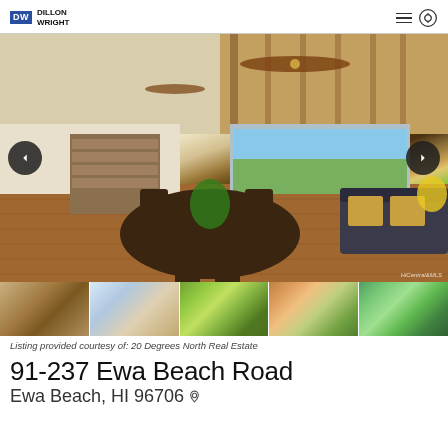DW DILLON WRIGHT
[Figure (photo): Interior photo of a spacious living/dining room with wooden beam ceiling, ceiling fans, hardwood floors, dining table with chairs, bookshelves, and ocean view through large windows. Navigation arrows visible on left and right.]
[Figure (photo): Thumbnail strip: 5 small property photos showing interior and aerial views.]
Listing provided courtesy of: 20 Degrees North Real Estate
91-237 Ewa Beach Road
Ewa Beach, HI 96706